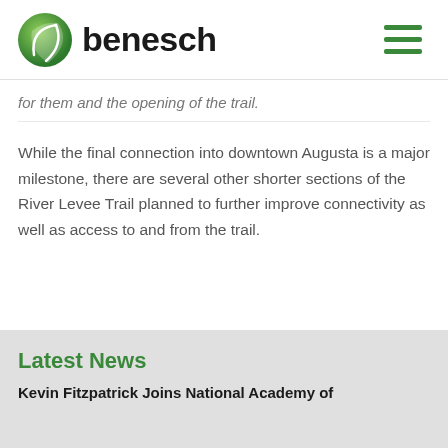benesch
for them and the opening of the trail.
While the final connection into downtown Augusta is a major milestone, there are several other shorter sections of the River Levee Trail planned to further improve connectivity as well as access to and from the trail.
Latest News
Kevin Fitzpatrick Joins National Academy of